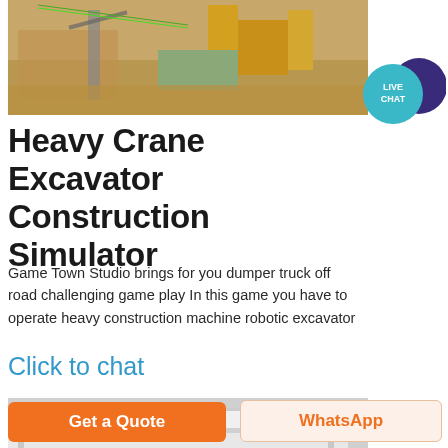[Figure (photo): Aerial view of a construction site with yellow heavy machinery and equipment, sandy terrain]
[Figure (illustration): Live Chat badge — teal circle with LIVE CHAT text and dark purple speech bubble icon]
Heavy Crane Excavator Construction Simulator
Game Town Studio brings for you dumper truck off road challenging game play In this game you have to operate heavy construction machine robotic excavator
Click to chat
[Figure (photo): Close-up of white metal shelving or bench structure on green grass background]
Get a Quote
WhatsApp